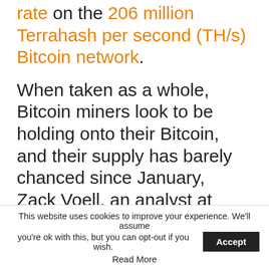rate on the 206 million Terrahash per second (TH/s) Bitcoin network. When taken as a whole, Bitcoin miners look to be holding onto their Bitcoin, and their supply has barely chanced since January, Zack Voell, an analyst at Bitcoin mining software company Braiins, said on Twitter.
[Figure (other): Decorative quotation mark on light grey background]
This website uses cookies to improve your experience. We'll assume you're ok with this, but you can opt-out if you wish. Accept Read More